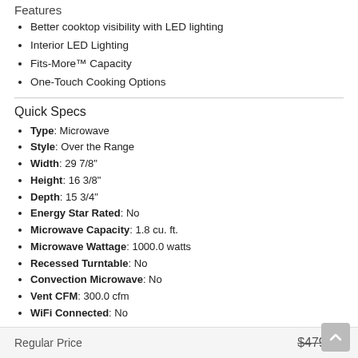Features
Better cooktop visibility with LED lighting
Interior LED Lighting
Fits-More™ Capacity
One-Touch Cooking Options
Quick Specs
Type: Microwave
Style: Over the Range
Width: 29 7/8"
Height: 16 3/8"
Depth: 15 3/4"
Energy Star Rated: No
Microwave Capacity: 1.8 cu. ft.
Microwave Wattage: 1000.0 watts
Recessed Turntable: No
Convection Microwave: No
Vent CFM: 300.0 cfm
WiFi Connected: No
See More
| Regular Price | $479.99 |
| --- | --- |